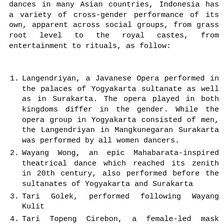dances in many Asian countries, Indonesia has a variety of cross-gender performance of its own, apparent across social groups, from grass root level to the royal castes, from entertainment to rituals, as follow:
Langendriyan, a Javanese Opera performed in the palaces of Yogyakarta sultanate as well as in Surakarta. The opera played in both kingdoms differ in the gender. While the opera group in Yogyakarta consisted of men, the Langendriyan in Mangkunegaran Surakarta was performed by all women dancers.
Wayang Wong, an epic Mahabarata-inspired theatrical dance which reached its zenith in 20th century, also performed before the sultanates of Yogyakarta and Surakarta
Tari Golek, performed following Wayang Kulit
Tari Topeng Cirebon, a female-led mask dance impersonating male character originating from the west coast of Java, such as in Palimanan and Indramayu